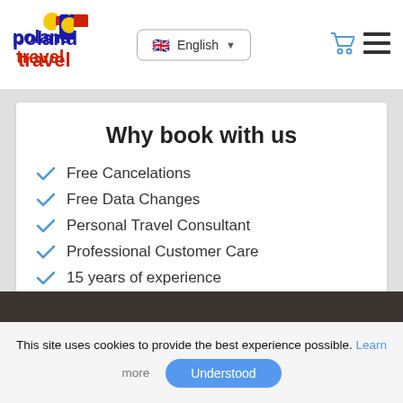[Figure (logo): Poland Travel logo with sun/flag icon, 'poland' in blue bold and 'travel' in red bold]
[Figure (other): Language selector showing UK flag and 'English' with dropdown arrow]
[Figure (other): Shopping cart icon and hamburger menu icon in header]
Why book with us
Free Cancelations
Free Data Changes
Personal Travel Consultant
Professional Customer Care
15 years of experience
Local Expert Advices
This site uses cookies to provide the best experience possible. Learn more
Understood